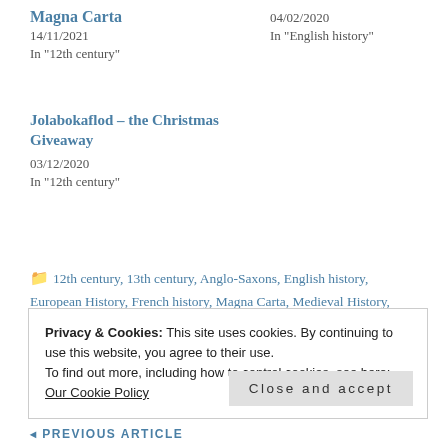Magna Carta
14/11/2021
In "12th century"
04/02/2020
In "English history"
Jolabokaflod – the Christmas Giveaway
03/12/2020
In "12th century"
12th century, 13th century, Anglo-Saxons, English history, European History, French history, Magna Carta, Medieval History, Medieval Women, News, Plantagenets, Scottish history, Thirteenth Century, Uncategorized, Warennes, Welsh History, Women's History
Privacy & Cookies: This site uses cookies. By continuing to use this website, you agree to their use.
To find out more, including how to control cookies, see here: Our Cookie Policy
Close and accept
◂ PREVIOUS ARTICLE